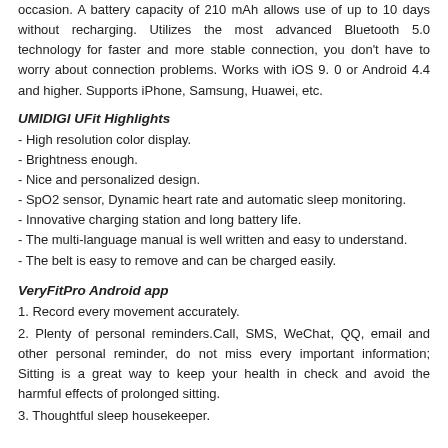occasion. A battery capacity of 210 mAh allows use of up to 10 days without recharging. Utilizes the most advanced Bluetooth 5.0 technology for faster and more stable connection, you don't have to worry about connection problems. Works with iOS 9. 0 or Android 4.4 and higher. Supports iPhone, Samsung, Huawei, etc.
UMIDIGI UFit Highlights
- High resolution color display.
- Brightness enough.
- Nice and personalized design.
- SpO2 sensor, Dynamic heart rate and automatic sleep monitoring.
- Innovative charging station and long battery life.
- The multi-language manual is well written and easy to understand.
- The belt is easy to remove and can be charged easily.
VeryFitPro Android app
1. Record every movement accurately.
2. Plenty of personal reminders.Call, SMS, WeChat, QQ, email and other personal reminder, do not miss every important information; Sitting is a great way to keep your health in check and avoid the harmful effects of prolonged sitting.
3. Thoughtful sleep housekeeper.